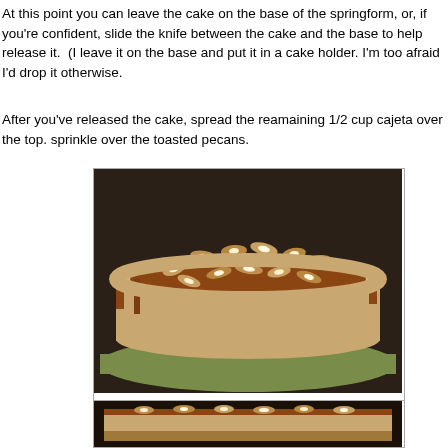At this point you can leave the cake on the base of the springform, or, if you're confident, slide the knife between the cake and the base to help release it.  (I leave it on the base and put it in a cake holder. I'm too afraid I'd drop it otherwise.
After you've released the cake, spread the reamaining 1/2 cup cajeta over the top. sprinkle over the toasted pecans.
[Figure (photo): A finished cheesecake topped with caramel (cajeta) and chopped toasted pecans, displayed on a green cake stand.]
The finished cheesecake. Yummy.
[Figure (photo): A partial view of a slice or side of the cheesecake showing layers and crust detail.]